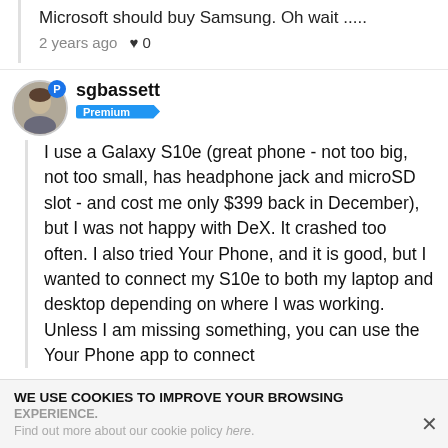Microsoft should buy Samsung. Oh wait .....
2 years ago ♥ 0
sgbassett
Premium
I use a Galaxy S10e (great phone - not too big, not too small, has headphone jack and microSD slot - and cost me only $399 back in December), but I was not happy with DeX. It crashed too often. I also tried Your Phone, and it is good, but I wanted to connect my S10e to both my laptop and desktop depending on where I was working. Unless I am missing something, you can use the Your Phone app to connect
WE USE COOKIES TO IMPROVE YOUR BROWSING EXPERIENCE. Find out more about our cookie policy here.